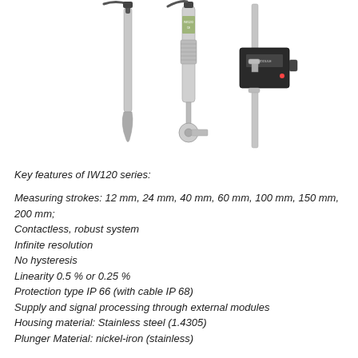[Figure (photo): Photo of IW120 series inductive linear position sensors/transducers — three units shown: a slim probe-style sensor, a sensor with ball-joint rod end, and a rectangular external module/amplifier unit.]
Key features of IW120 series:
Measuring strokes: 12 mm, 24 mm, 40 mm, 60 mm, 100 mm, 150 mm, 200 mm;
Contactless, robust system
Infinite resolution
No hysteresis
Linearity 0.5 % or 0.25 %
Protection type IP 66 (with cable IP 68)
Supply and signal processing through external modules
Housing material: Stainless steel (1.4305)
Plunger Material: nickel-iron (stainless)